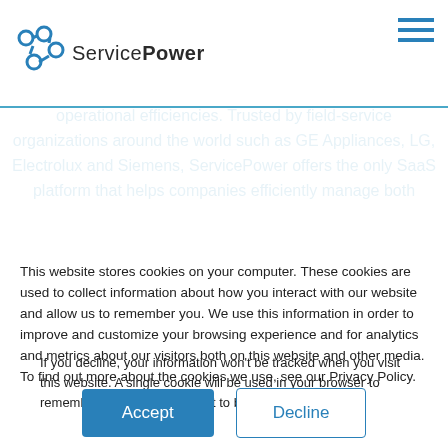[Figure (logo): ServicePower logo with hexagonal chain icon and company name]
ServicePower is a leading field-service management software company focused on providing an exceptional customer experience, while delivering significant operational efficiencies. Trusted by field-service organizations around the world such as GE Appliances, LG, Electrolux and Siemens, ServicePower offers the only SaaS platform that helps companies efficiently manage both
This website stores cookies on your computer. These cookies are used to collect information about how you interact with our website and allow us to remember you. We use this information in order to improve and customize your browsing experience and for analytics and metrics about our visitors both on this website and other media. To find out more about the cookies we use, see our Privacy Policy.
If you decline, your information won't be tracked when you visit this website. A single cookie will be used in your browser to remember your preference not to be tracked.